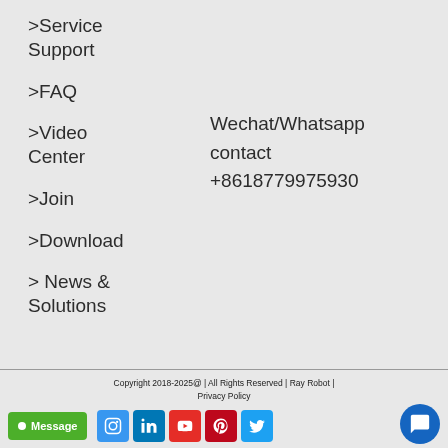>Service Support
>FAQ
>Video Center
Wechat/Whatsapp contact +8618779975930
>Join
>Download
> News & Solutions
Copyright 2018-2025@ | All Rights Reserved | Ray Robot | Privacy Policy